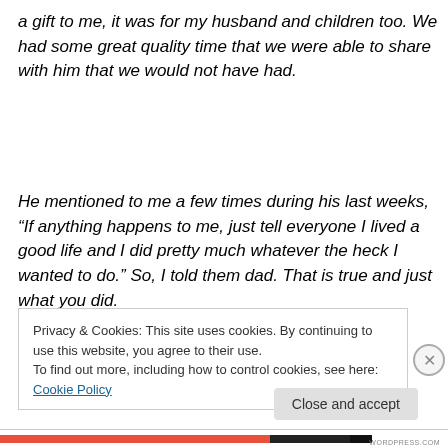a gift to me, it was for my husband and children too. We had some great quality time that we were able to share with him that we would not have had.
He mentioned to me a few times during his last weeks, “If anything happens to me, just tell everyone I lived a good life and I did pretty much whatever the heck I wanted to do.” So, I told them dad. That is true and just what you did.
Privacy & Cookies: This site uses cookies. By continuing to use this website, you agree to their use.
To find out more, including how to control cookies, see here: Cookie Policy
Close and accept